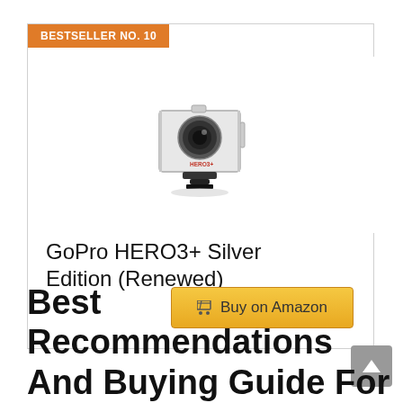[Figure (infographic): Product card with orange BESTSELLER NO. 10 badge at top-left, GoPro HERO3+ Silver Edition camera image in center, product title, and Buy on Amazon button]
GoPro HERO3+ Silver Edition (Renewed)
Best Recommendations And Buying Guide For